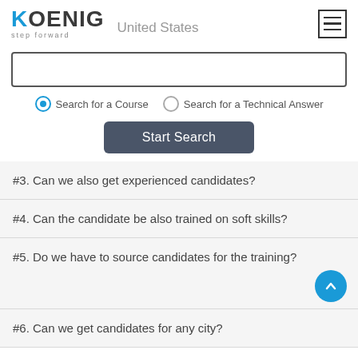[Figure (logo): Koenig Solutions logo with 'step forward' tagline and 'United States' location text, plus hamburger menu icon]
Search input box
Search for a Course (selected) | Search for a Technical Answer
Start Search
#3. Can we also get experienced candidates?
#4. Can the candidate be also trained on soft skills?
#5. Do we have to source candidates for the training?
#6. Can we get candidates for any city?